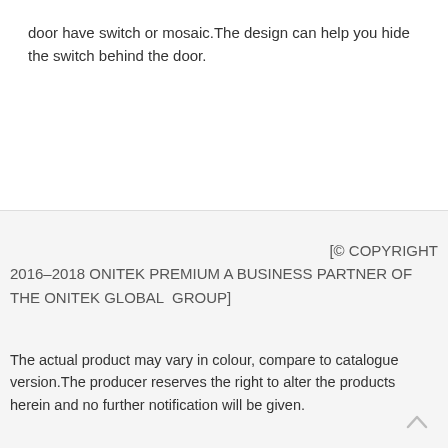door have switch or mosaic.The design can help you hide the switch behind the door.
[© COPYRIGHT 2016–2018 ONITEK PREMIUM A BUSINESS PARTNER OF THE ONITEK GLOBAL  GROUP]
The actual product may vary in colour, compare to catalogue version.The producer reserves the right to alter the products herein and no further notification will be given.